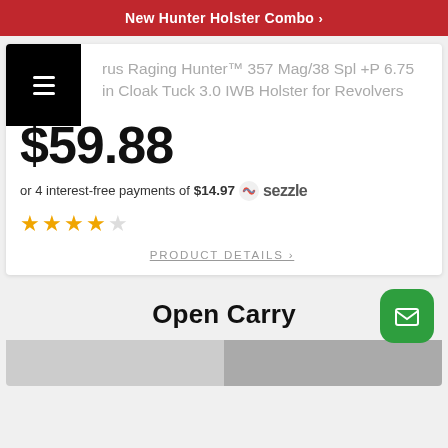New Hunter Holster Combo >
rus Raging Hunter™ 357 Mag/38 Spl +P 6.75 in Cloak Tuck 3.0 IWB Holster for Revolvers
$59.88
or 4 interest-free payments of $14.97 sezzle
★★★★★
PRODUCT DETAILS >
Open Carry
[Figure (photo): Bottom strip showing partial product images]